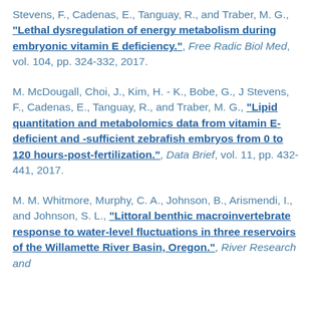Stevens, F., Cadenas, E., Tanguay, R., and Traber, M. G., "Lethal dysregulation of energy metabolism during embryonic vitamin E deficiency.", Free Radic Biol Med, vol. 104, pp. 324-332, 2017.
M. McDougall, Choi, J., Kim, H. - K., Bobe, G., J Stevens, F., Cadenas, E., Tanguay, R., and Traber, M. G., "Lipid quantitation and metabolomics data from vitamin E-deficient and -sufficient zebrafish embryos from 0 to 120 hours-post-fertilization.", Data Brief, vol. 11, pp. 432-441, 2017.
M. M. Whitmore, Murphy, C. A., Johnson, B., Arismendi, I., and Johnson, S. L., "Littoral benthic macroinvertebrate response to water-level fluctuations in three reservoirs of the Willamette River Basin, Oregon.", River Research and...